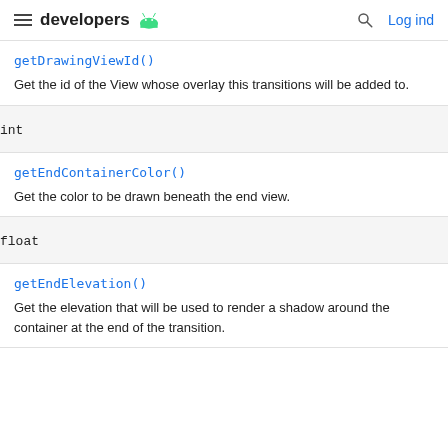developers  Log ind
getDrawingViewId()
Get the id of the View whose overlay this transitions will be added to.
int
getEndContainerColor()
Get the color to be drawn beneath the end view.
float
getEndElevation()
Get the elevation that will be used to render a shadow around the container at the end of the transition.